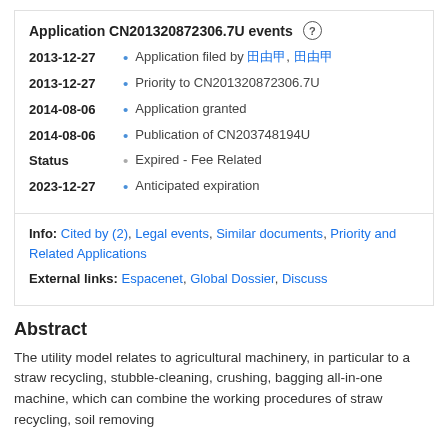Application CN201320872306.7U events
2013-12-27 • Application filed by [Chinese characters], [Chinese characters]
2013-12-27 • Priority to CN201320872306.7U
2014-08-06 • Application granted
2014-08-06 • Publication of CN203748194U
Status • Expired - Fee Related
2023-12-27 • Anticipated expiration
Info: Cited by (2), Legal events, Similar documents, Priority and Related Applications
External links: Espacenet, Global Dossier, Discuss
Abstract
The utility model relates to agricultural machinery, in particular to a straw recycling, stubble-cleaning, crushing, bagging all-in-one machine, which can combine the working procedures of straw recycling, soil removing